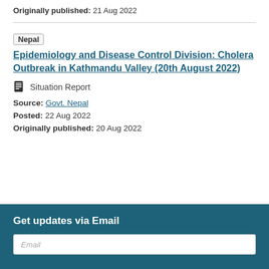Originally published: 21 Aug 2022
Nepal — Epidemiology and Disease Control Division: Cholera Outbreak in Kathmandu Valley (20th August 2022)
Situation Report
Source: Govt. Nepal
Posted: 22 Aug 2022
Originally published: 20 Aug 2022
Get updates via Email